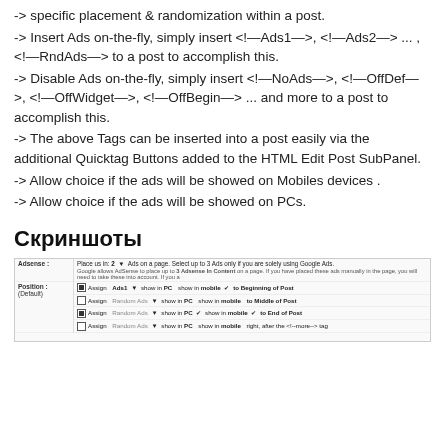-> specific placement & randomization within a post.
-> Insert Ads on-the-fly, simply insert <!—Ads1—>, <!—Ads2—> ... , <!—RndAds—> to a post to accomplish this.
-> Disable Ads on-the-fly, simply insert <!—NoAds—>, <!—OffDef—>, <!—OffWidget—>, <!—OffBegin—> ... and more to a post to accomplish this.
-> The above Tags can be inserted into a post easily via the additional Quicktag Buttons added to the HTML Edit Post SubPanel.
-> Allow choice if the ads will be showed on Mobiles devices .
-> Allow choice if the ads will be showed on PCs.
Скриншоты
[Figure (screenshot): Screenshot of a plugin settings panel showing Adsense configuration with Position options including checkboxes for Ads1, Random Ads at Beginning of Post, Middle of Post, End of Post, and after the more tag, with show in PC and show in mobile options.]